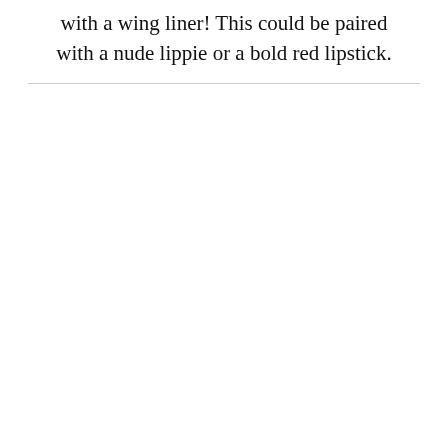with a wing liner! This could be paired with a nude lippie or a bold red lipstick.